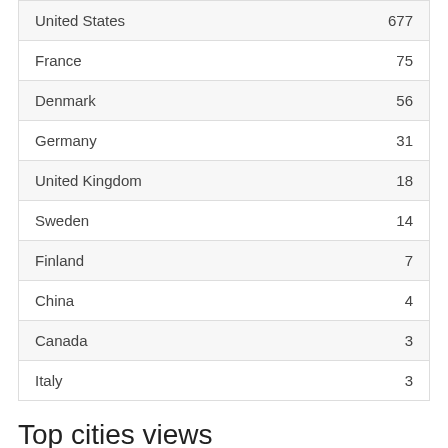| United States | 677 |
| France | 75 |
| Denmark | 56 |
| Germany | 31 |
| United Kingdom | 18 |
| Sweden | 14 |
| Finland | 7 |
| China | 4 |
| Canada | 3 |
| Italy | 3 |
Top cities views